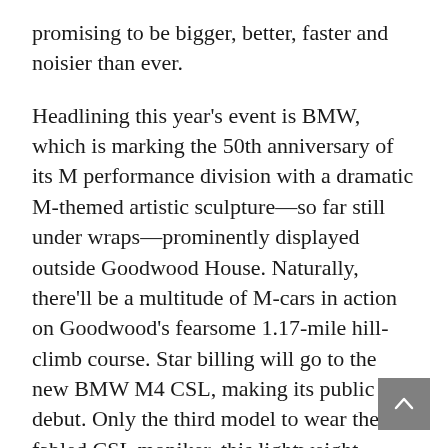promising to be bigger, better, faster and noisier than ever.
Headlining this year's event is BMW, which is marking the 50th anniversary of its M performance division with a dramatic M-themed artistic sculpture—so far still under wraps—prominently displayed outside Goodwood House. Naturally, there'll be a multitude of M-cars in action on Goodwood's fearsome 1.17-mile hill-climb course. Star billing will go to the new BMW M4 CSL, making its public debut. Only the third model to wear the fabled CSL moniker, this lightweight, track-focused coupe packs a 543 hp punch from its 3.0-liter, turbocharged inline-six engine.
Headlining this year's event is BMW, which is...